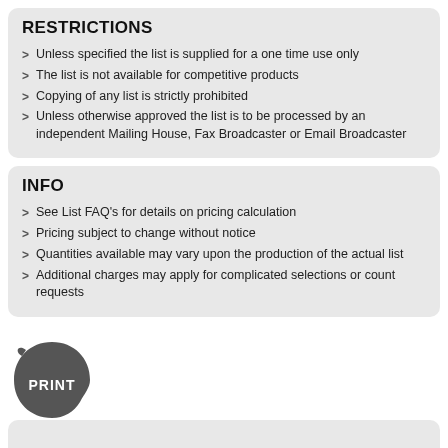RESTRICTIONS
Unless specified the list is supplied for a one time use only
The list is not available for competitive products
Copying of any list is strictly prohibited
Unless otherwise approved the list is to be processed by an independent Mailing House, Fax Broadcaster or Email Broadcaster
INFO
See List FAQ's for details on pricing calculation
Pricing subject to change without notice
Quantities available may vary upon the production of the actual list
Additional charges may apply for complicated selections or count requests
[Figure (illustration): Dark gray blob/speech-bubble shape with bold white text 'PRINT' inside]